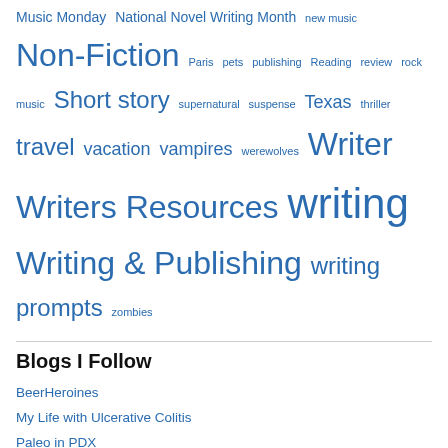Music Monday National Novel Writing Month new music Non-Fiction Paris pets publishing Reading review rock music Short story supernatural suspense Texas thriller travel vacation vampires werewolves Writer Writers Resources writing Writing & Publishing writing prompts zombies
Blogs I Follow
BeerHeroines
My Life with Ulcerative Colitis
Paleo in PDX
the thoughts i think
Lost, Texas
Fictional Foley
Dianne Gray author
'72 Design & Photography